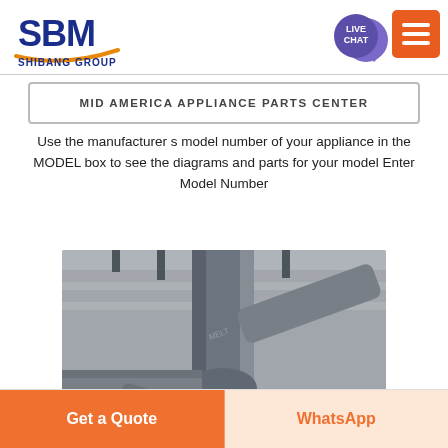[Figure (logo): SBM Shibang Group logo with blue letters and orange swoosh]
[Figure (screenshot): Orange hamburger menu button (three white lines) in top-right corner]
[Figure (infographic): Purple circular Live Chat speech bubble icon]
MID AMERICA APPLIANCE PARTS CENTER
Use the manufacturer s model number of your appliance in the MODEL box to see the diagrams and parts for your model Enter Model Number
[Figure (photo): Industrial pipes and ductwork inside a building, gray metal pipes branching in various directions against a corrugated metal ceiling]
Get a Quote
WhatsApp